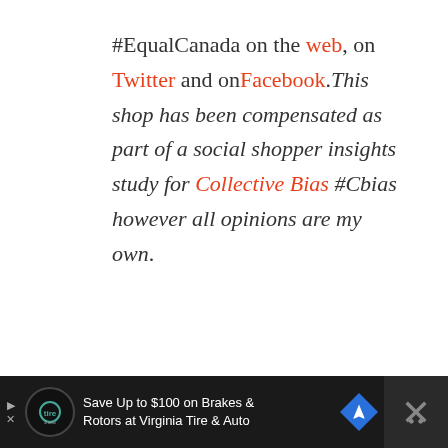#EqualCanada on the web, on Twitter and onFacebook. This shop has been compensated as part of a social shopper insights study for Collective Bias #Cbias however all opinions are my own.
[Figure (screenshot): Social interaction buttons: heart/like button (red circle with heart icon), count of 1, and share button]
[Figure (screenshot): Advertisement bar at bottom: The Tire & Auto logo, 'Save Up to $100 on Brakes & Rotors at Virginia Tire & Auto', navigation arrow sign, and close button with X]